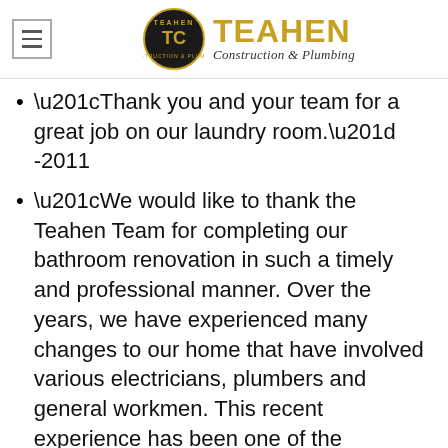[Figure (logo): Teahen Construction & Plumbing logo with circular badge and golden TEAHEN text]
“Thank you and your team for a great job on our laundry room.” -2011
“We would like to thank the Teahen Team for completing our bathroom renovation in such a timely and professional manner. Over the years, we have experienced many changes to our home that have involved various electricians, plumbers and general workmen. This recent experience has been one of the smoothest and most worry free! -2012
We compliment you on the caliber of